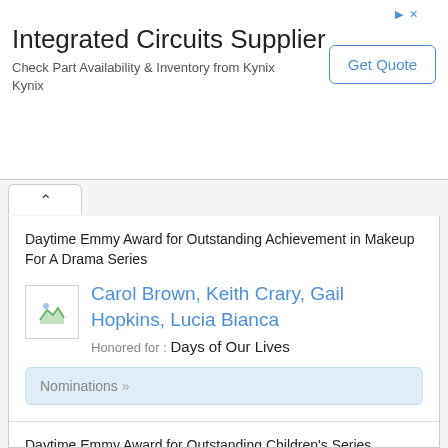[Figure (screenshot): Advertisement banner for 'Integrated Circuits Supplier' from Kynix with Get Quote button]
Integrated Circuits Supplier
Check Part Availability & Inventory from Kynix Kynix
Get Quote
Daytime Emmy Award for Outstanding Achievement in Makeup For A Drama Series
Carol Brown, Keith Crary, Gail Hopkins, Lucia Bianca
Honored for : Days of Our Lives
Nominations »
Daytime Emmy Award for Outstanding Children's Series
Dulcy Singer, Lisa Simon, Arlene Sherman
Honored for : Sesame Street